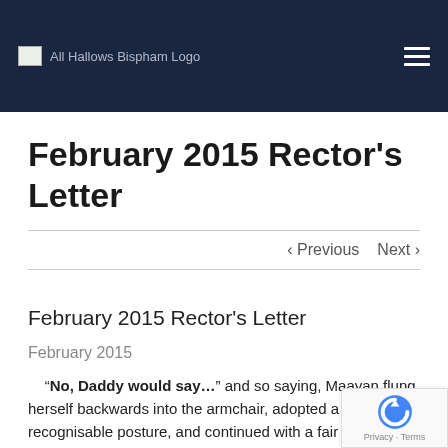All Hallows Bispham Logo
February 2015 Rector's Letter
< Previous   Next >
February 2015 Rector's Letter
February 2015
“No, Daddy would say…” and so saying, Maayan flung herself backwards into the armchair, adopted a recognisable posture, and continued with a fair...